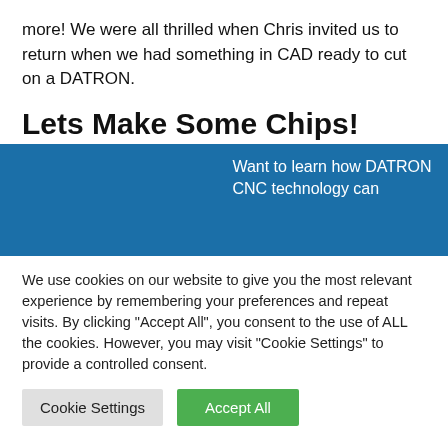more! We were all thrilled when Chris invited us to return when we had something in CAD ready to cut on a DATRON.
Lets Make Some Chips!
[Figure (other): Blue banner with partial text: 'Want to learn how DATRON CNC technology can']
We use cookies on our website to give you the most relevant experience by remembering your preferences and repeat visits. By clicking "Accept All", you consent to the use of ALL the cookies. However, you may visit "Cookie Settings" to provide a controlled consent.